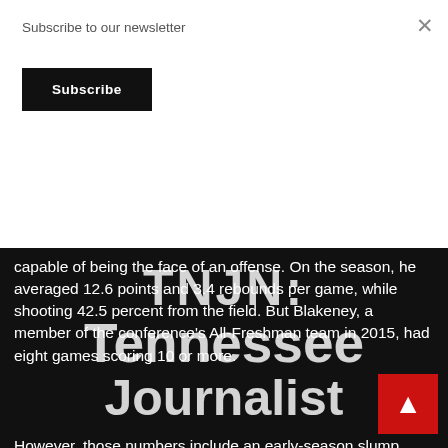Subscribe to our newsletter
Subscribe
[Figure (screenshot): TNJN: Tennessee Journalist watermark overlay on dark background]
capable of being the face of an offense. On the season, he averaged 12.6 points and 3.4 rebounds per game, while shooting 42.5 percent from the field. But Blakeney, a member of the conference's All-Freshman team in 2015, had eight games scoring 10 or more.
However, those numbers include an early-season slump. Over the last 11 games of the season, though, Blakeney increased his productivity. Over that stretch, he averaged 18.6 points and 3.8 rebounds per game. Through that 11-game period, he also shot 46.5 percent from the field, 38.2 percent from three-point range.